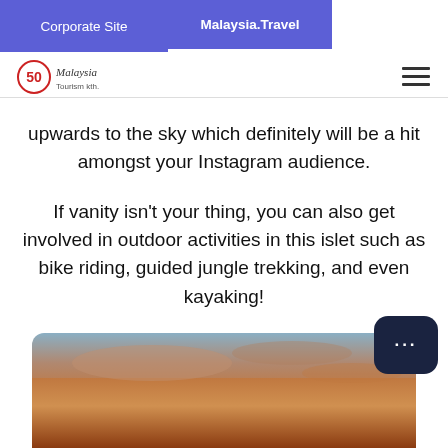Corporate Site  |  Malaysia.Travel
[Figure (logo): Malaysia Tourism logo with 50th anniversary mark and stylized text]
upwards to the sky which definitely will be a hit amongst your Instagram audience.
If vanity isn't your thing, you can also get involved in outdoor activities in this islet such as bike riding, guided jungle trekking, and even kayaking!
[Figure (photo): Sunset landscape photo showing warm orange and reddish sky with terrain below, partially visible at bottom of page]